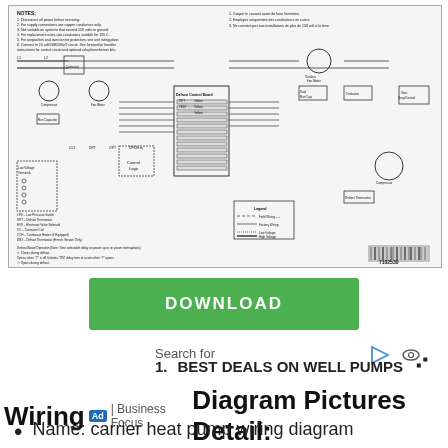[Figure (schematic): Carrier heat pump wiring diagram showing electrical schematic with components including compressors, fan motors, capacitors, contactor, defrost control board, thermostat connections, low/high voltage terminals, legend, and notes in English and French. Document number 7102530 visible at bottom right.]
DOWNLOAD
Search for
1. BEST DEALS ON WELL PUMPS
Ad | Business Focus
Wiring Diagram Pictures Detail:
Name: carrier heat pump wiring diagram